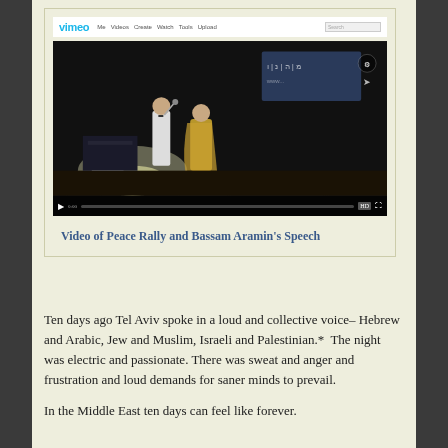[Figure (screenshot): Screenshot of a Vimeo video page showing two people on a stage at a peace rally, with video player controls visible at the bottom]
Video of Peace Rally and Bassam Aramin's Speech
Ten days ago Tel Aviv spoke in a loud and collective voice– Hebrew and Arabic, Jew and Muslim, Israeli and Palestinian.*  The night was electric and passionate. There was sweat and anger and frustration and loud demands for saner minds to prevail.
In the Middle East ten days can feel like forever.